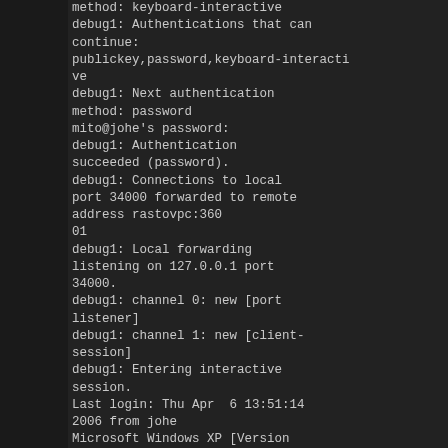method: keyboard-interactive
debug1: Authentications that can continue:
publickey,password,keyboard-interactive
debug1: Next authentication method: password
mito@johe's password:
debug1: Authentication succeeded (password).
debug1: Connections to local port 34000 forwarded to remote address rastovpc:36001
debug1: Local forwarding listening on 127.0.0.1 port 34000.
debug1: channel 0: new [port listener]
debug1: channel 1: new [client-session]
debug1: Entering interactive session.
Last login: Thu Apr  6 13:51:14 2006 from johe
Microsoft Windows XP [Version